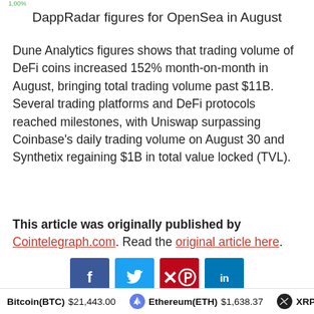1.00%
DappRadar figures for OpenSea in August
Dune Analytics figures shows that trading volume of DeFi coins increased 152% month-on-month in August, bringing total trading volume past $11B. Several trading platforms and DeFi protocols reached milestones, with Uniswap surpassing Coinbase's daily trading volume on August 30 and Synthetix regaining $1B in total value locked (TVL).
This article was originally published by Cointelegraph.com. Read the original article here.
[Figure (infographic): Social media share buttons: Facebook (blue), Twitter (cyan), Pinterest (red), LinkedIn (blue)]
Bitcoin(BTC) $21,443.00   Ethereum(ETH) $1,638.37   XRP(